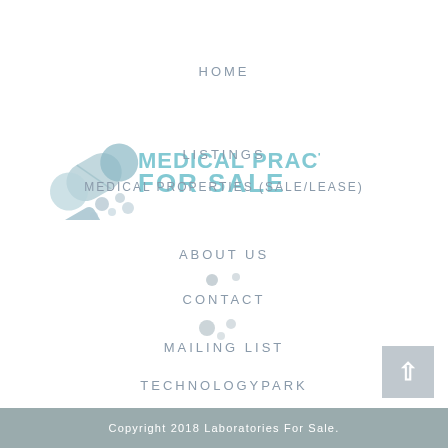[Figure (logo): Medical Practices For Sale logo with two pill capsules in light blue/teal and small blue dots, with text MEDICAL PRACTICES FOR SALE in teal/bold]
HOME
LISTINGS
MEDICAL PROPERTIES (SALE/LEASE)
ABOUT US
CONTACT
MAILING LIST
TECHNOLOGYPARK
Copyright 2018 Laboratories For Sale.